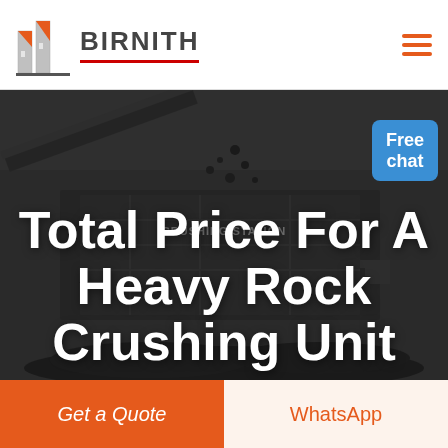[Figure (logo): Birnith company logo with orange building/construction icon and brand name BIRNITH in bold gray letters with red underline, hamburger menu icon in orange top right]
[Figure (photo): Dark industrial photo of a heavy rock crushing station/unit machinery with coal/rocks on the ground. Text overlay 'CRUSHING STATION' visible on machinery. A customer service representative figure and blue 'Free chat' button in top right corner.]
Total Price For A Heavy Rock Crushing Unit
Get a Quote
WhatsApp